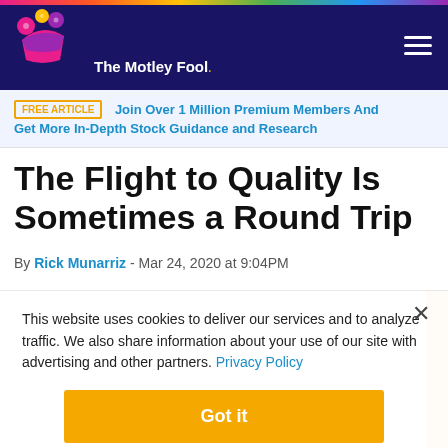The Motley Fool
FREE ARTICLE | Join Over 1 Million Premium Members And Get More In-Depth Stock Guidance and Research
The Flight to Quality Is Sometimes a Round Trip
By Rick Munarriz - Mar 24, 2020 at 9:04PM
This website uses cookies to deliver our services and to analyze traffic. We also share information about your use of our site with advertising and other partners. Privacy Policy
Got it
Cookie Settings